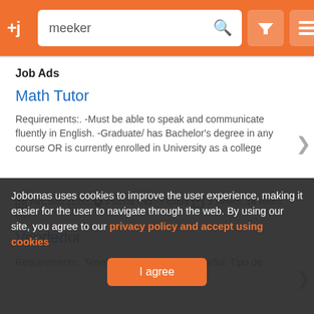+j  meeker  [search icon] [filter icon] [menu icon]
Job Ads
Math Tutor
Requirements:. -Must be able to speak and communicate fluently in English. -Graduate/ has Bachelor's degree in any course OR is currently enrolled in University as a college
AirClass 1ON1   Florida City - Florida   3 weeks, 14 hours ago
Vendedor
Requirements:   Tener movilidad. Hablar español. Tipo de ...
Backend Developer [2 Year Experience]
Jobomas uses cookies to improve the user experience, making it easier for the user to navigate through the web. By using our site, you agree to our privacy policy and accept using cookies
I agree